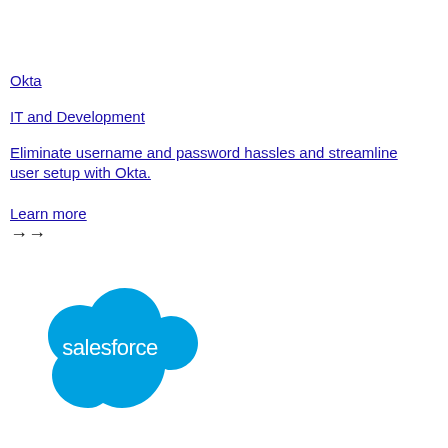Okta
IT and Development
Eliminate username and password hassles and streamline user setup with Okta.
Learn more →→
[Figure (logo): Salesforce cloud logo — a blue cloud shape with 'salesforce' text in white]